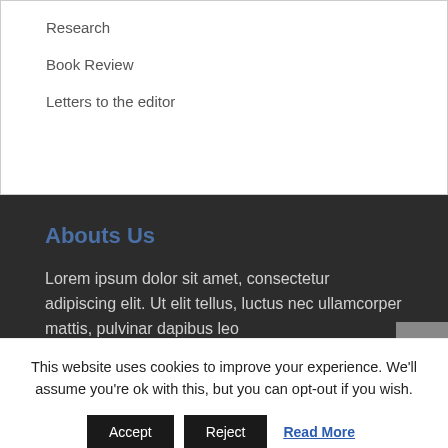Research
Book Review
Letters to the editor
Abouts Us
Lorem ipsum dolor sit amet, consectetur adipiscing elit. Ut elit tellus, luctus nec ullamcorper mattis, pulvinar dapibus leo
This website uses cookies to improve your experience. We'll assume you're ok with this, but you can opt-out if you wish.